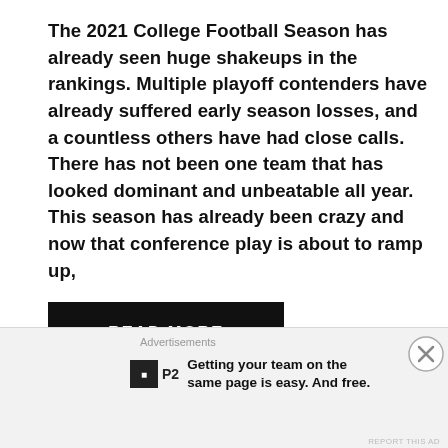The 2021 College Football Season has already seen huge shakeups in the rankings. Multiple playoff contenders have already suffered early season losses, and a countless others have had close calls. There has not been one team that has looked dominant and unbeatable all year. This season has already been crazy and now that conference play is about to ramp up,
READ MORE
Arkansas
Arkansas Razorbacks
Florida
Florida Gators
Mississippi State
Mississippi State Bulldogs
Mississippi
Mississippi Ti...
Advertisements
Getting your team on the same page is easy. And free.